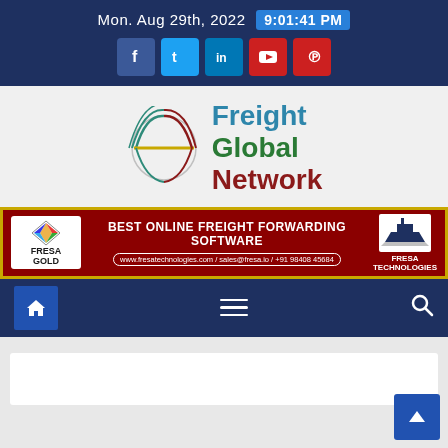Mon. Aug 29th, 2022  9:01:41 PM
[Figure (logo): Freight Global Network logo with circular globe graphic and colored text]
[Figure (infographic): FRESA GOLD banner ad: BEST ONLINE FREIGHT FORWARDING SOFTWARE, www.fresatechnologies.com / sales@fresa.io / +91 98408 45684, FRESA TECHNOLOGIES]
[Figure (screenshot): Navigation bar with home icon, hamburger menu, and search icon on dark blue background]
[Figure (screenshot): Grey content area with partial white card visible at bottom and scroll-to-top blue button]